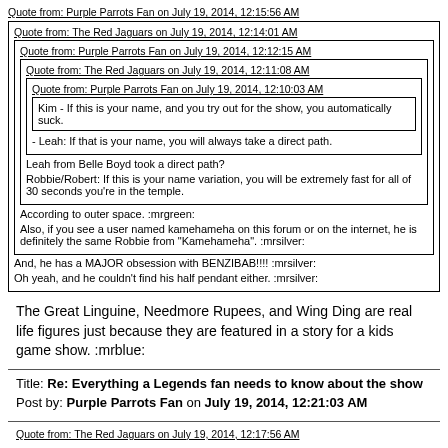Quote from: Purple Parrots Fan on July 19, 2014, 12:15:56 AM
Quote from: The Red Jaguars on July 19, 2014, 12:14:01 AM
Quote from: Purple Parrots Fan on July 19, 2014, 12:12:15 AM
Quote from: The Red Jaguars on July 19, 2014, 12:11:08 AM
Quote from: Purple Parrots Fan on July 19, 2014, 12:10:03 AM
Kim - If this is your name, and you try out for the show, you automatically suck.
- Leah: If that is your name, you will always take a direct path.
Leah from Belle Boyd took a direct path?
Robbie/Robert: If this is your name variation, you will be extremely fast for all of 30 seconds you're in the temple.
According to outer space.  :mrgreen:
Also, if you see a user named kamehameha on this forum or on the internet, he is definitely the same Robbie from "Kamehameha".  :mrsilver:
And, he has a MAJOR obsession with BENZIBAB!!!! :mrsilver:
Oh yeah, and he couldn't find his half pendant either. :mrsilver:
The Great Linguine, Needmore Rupees, and Wing Ding are real life figures just because they are featured in a story for a kids game show.  :mrblue:
Title: Re: Everything a Legends fan needs to know about the show
Post by: Purple Parrots Fan on July 19, 2014, 12:21:03 AM
Quote from: The Red Jaguars on July 19, 2014, 12:17:56 AM